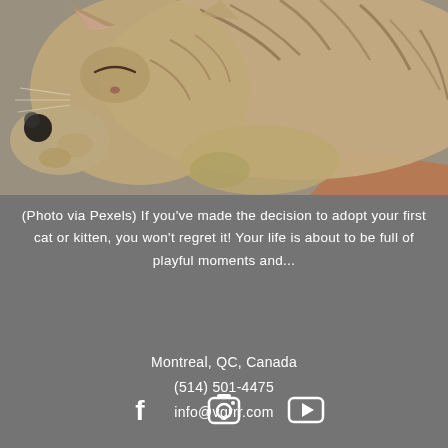[Figure (photo): A tabby cat sleeping/grooming, curled up, photographed up close. The cat has striped fur and its paws are near its face. Warm brown and grey tones. Photo credited to Pexels.]
(Photo via Pexels) If you've made the decision to adopt your first cat or kitten, you won't regret it! Your life is about to be full of playful moments and...
Montreal, QC, Canada
(514) 501-4475
info@vgrrr.com
[Figure (infographic): Three social media icons: Facebook (f), Instagram (camera), YouTube (play button triangle)]